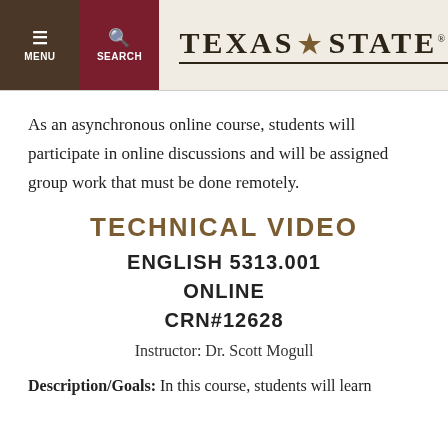MENU | SEARCH | TEXAS STATE
As an asynchronous online course, students will participate in online discussions and will be assigned group work that must be done remotely.
TECHNICAL VIDEO
ENGLISH 5313.001
ONLINE
CRN#12628
Instructor: Dr. Scott Mogull
Description/Goals: In this course, students will learn